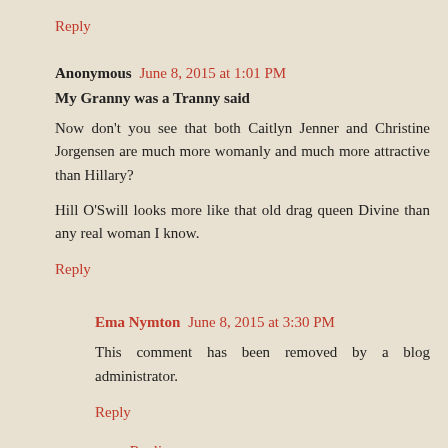Reply
Anonymous  June 8, 2015 at 1:01 PM
My Granny was a Tranny said
Now don't you see that both Caitlyn Jenner and Christine Jorgensen are much more womanly and much more attractive than Hillary?

Hill O'Swill looks more like that old drag queen Divine than any real woman I know.
Reply
Ema Nymton  June 8, 2015 at 3:30 PM
This comment has been removed by a blog administrator.
Reply
Replies